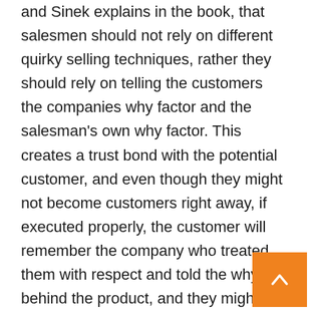and Sinek explains in the book, that salesmen should not rely on different quirky selling techniques, rather they should rely on telling the customers the companies why factor and the salesman's own why factor. This creates a trust bond with the potential customer, and even though they might not become customers right away, if executed properly, the customer will remember the company who treated them with respect and told the why's behind the product, and they might become long lasting customers after all. As a salesman, you could choose the easy way out and sell with the price, but after all, it isn't closely as satisfying making